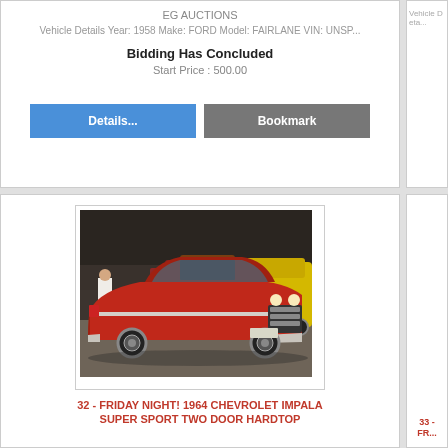EG AUCTIONS
Vehicle Details Year: 1958 Make: FORD Model: FAIRLANE VIN: UNSP...
Bidding Has Concluded
Start Price : 500.00
Details...  Bookmark
[Figure (photo): Red 1964 Chevrolet Impala Super Sport two door hardtop at an indoor car show, with yellow car visible in background]
32 - FRIDAY NIGHT! 1964 CHEVROLET IMPALA SUPER SPORT TWO DOOR HARDTOP
33 - FR...